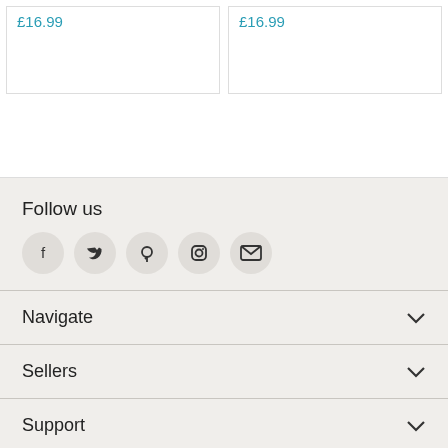£16.99
£16.99
Follow us
[Figure (illustration): Social media icons: Facebook, Twitter, Pinterest, Instagram, Email]
Navigate
Sellers
Support
Subscribe